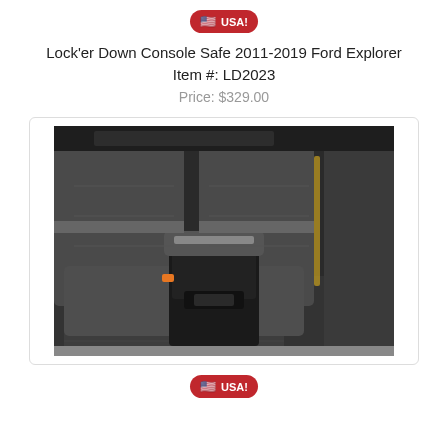[Figure (other): Red USA badge with American flag emoji at the top of the product listing]
Lock'er Down Console Safe 2011-2019 Ford Explorer
Item #: LD2023
Price: $329.00
[Figure (photo): Photo of the Ford Explorer interior showing the rear seat area with the console safe installed, black leather seats, dark gray floor mats, opened safe box visible under the armrest]
[Figure (other): Red USA badge with American flag emoji at the bottom of the product listing]